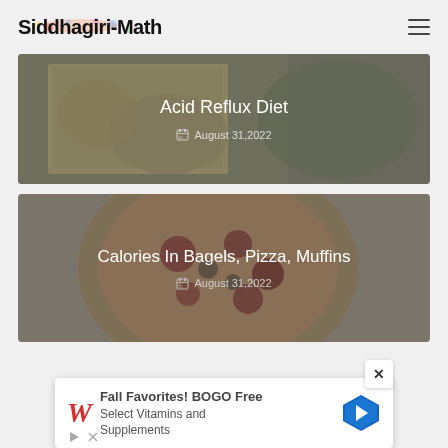Siddhagiri-Math
[Figure (photo): Blog card with cookbook image overlay showing 'Acid Reflux Diet' title and date August 31, 2022]
Acid Reflux Diet
August 31,2022
[Figure (photo): Blog card with pizza image overlay showing 'Calories In Bagels, Pizza, Muffins' title and date August 31, 2022]
Calories In Bagels, Pizza, Muffins
August 31,2022
[Figure (screenshot): Advertisement banner: Walgreens Fall Favorites BOGO Free Select Vitamins and Supplements with navigation arrow icon]